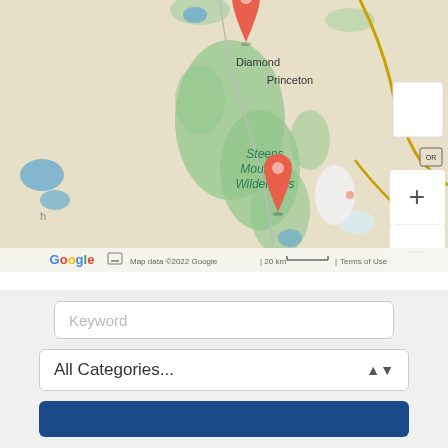[Figure (map): Google Maps view showing Steens Mountain Wilderness area in Oregon with two red location pins, zoom controls (+/-), Google logo, and attribution text 'Map data ©2022 Google | 20 km | Terms of Use']
[Figure (screenshot): Search UI panel with a 'Keyword' text input field, an 'All Categories...' dropdown selector, and a blue button below]